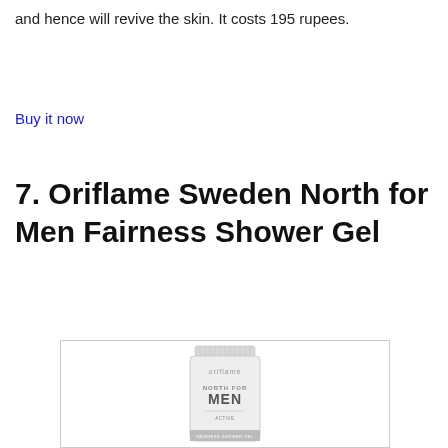and hence will revive the skin. It costs 195 rupees.
Buy it now
7. Oriflame Sweden North for Men Fairness Shower Gel
[Figure (photo): Oriflame Sweden North for Men shower gel tube product image, white tube with grey text showing 'oriflame', 'NORTH FOR MEN', 'ACTIVE' labels]